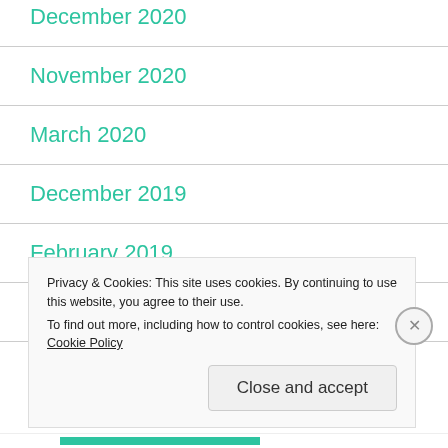December 2020
November 2020
March 2020
December 2019
February 2019
December 2018
Privacy & Cookies: This site uses cookies. By continuing to use this website, you agree to their use.
To find out more, including how to control cookies, see here: Cookie Policy
Close and accept